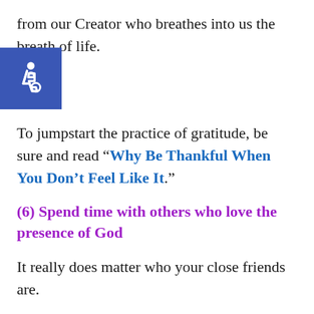from our Creator who breathes into us the breath of life.
To jumpstart the practice of gratitude, be sure and read “Why Be Thankful When You Don’t Feel Like It.”
(6) Spend time with others who love the presence of God
It really does matter who your close friends are.
Being around others who love Jesus and want to be in the presence of God is truly contagious. It will encourage you to